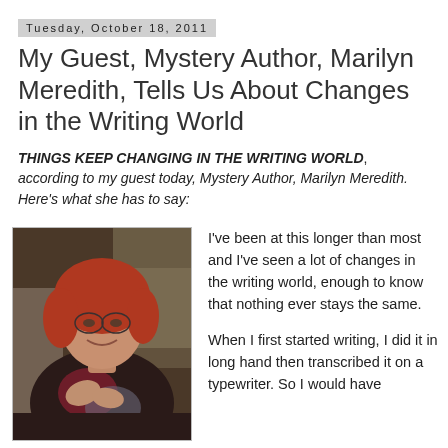Tuesday, October 18, 2011
My Guest, Mystery Author, Marilyn Meredith, Tells Us About Changes in the Writing World
THINGS KEEP CHANGING IN THE WRITING WORLD, according to my guest today, Mystery Author, Marilyn Meredith. Here's what she has to say:
[Figure (photo): Photograph of Marilyn Meredith, a woman with red hair, glasses, wearing a dark patterned top with a necklace, smiling at the camera]
I've been at this longer than most and I've seen a lot of changes in the writing world, enough to know that nothing ever stays the same.

When I first started writing, I did it in long hand then transcribed it on a typewriter. So I would have